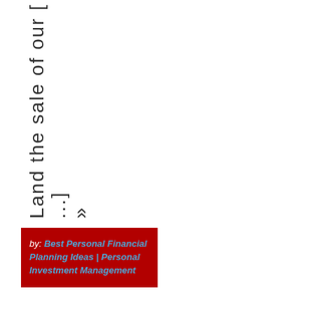Land the sale of our [...] »
by: Best Personal Financial Planning Ideas | Personal Investment Management